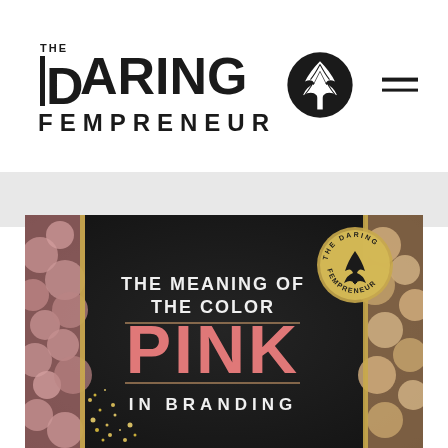[Figure (logo): The Daring Fempreneur logo with tree icon and hamburger menu]
[Figure (illustration): Dark background promotional image reading 'THE MEANING OF THE COLOR PINK IN BRANDING' with pink flowers and gold glitter on sides, The Daring Fempreneur seal in top right]